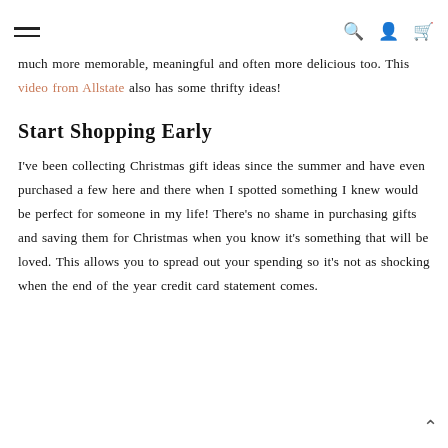[hamburger menu] [search icon] [user icon] [cart icon]
much more memorable, meaningful and often more delicious too. This video from Allstate also has some thrifty ideas!
Start Shopping Early
I've been collecting Christmas gift ideas since the summer and have even purchased a few here and there when I spotted something I knew would be perfect for someone in my life! There's no shame in purchasing gifts and saving them for Christmas when you know it's something that will be loved. This allows you to spread out your spending so it's not as shocking when the end of the year credit card statement comes.